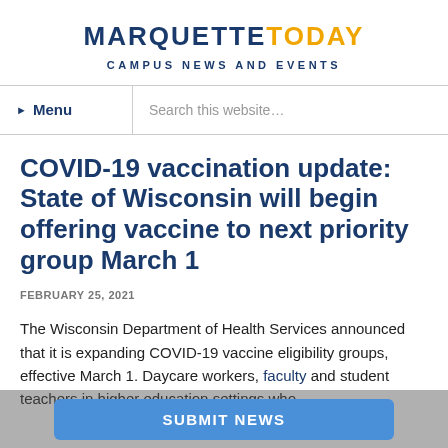MARQUETTE TODAY — CAMPUS NEWS AND EVENTS
COVID-19 vaccination update: State of Wisconsin will begin offering vaccine to next priority group March 1
FEBRUARY 25, 2021
The Wisconsin Department of Health Services announced that it is expanding COVID-19 vaccine eligibility groups, effective March 1. Daycare workers, faculty and student teachers in higher education settings who
SUBMIT NEWS